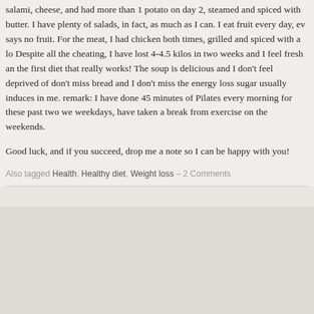salami, cheese, and had more than 1 potato on day 2, steamed and spiced with butter. I have plenty of salads, in fact, as much as I can. I eat fruit every day, ev says no fruit. For the meat, I had chicken both times, grilled and spiced with a lo Despite all the cheating, I have lost 4-4.5 kilos in two weeks and I feel fresh and the first diet that really works! The soup is delicious and I don't feel deprived of don't miss bread and I don't miss the energy loss sugar usually induces in me. remark: I have done 45 minutes of Pilates every morning for these past two we weekdays, have taken a break from exercise on the weekends.
Good luck, and if you succeed, drop me a note so I can be happy with you!
Also tagged Health, Healthy diet, Weight loss – 2 Comments